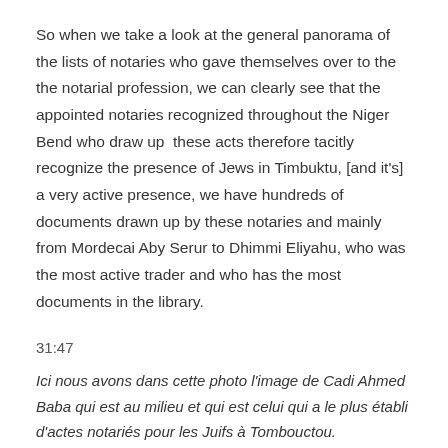So when we take a look at the general panorama of the lists of notaries who gave themselves over to the the notarial profession, we can clearly see that the appointed notaries recognized throughout the Niger Bend who draw up  these acts therefore tacitly recognize the presence of Jews in Timbuktu, [and it's] a very active presence, we have hundreds of documents drawn up by these notaries and mainly from Mordecai Aby Serur to Dhimmi Eliyahu, who was the most active trader and who has the most documents in the library.
31:47
Ici nous avons dans cette photo l'image de Cadi Ahmed Baba qui est au milieu et qui est celui qui a le plus établi d'actes notariés pour les Juifs à Tombouctou.
[In reference to the slide]